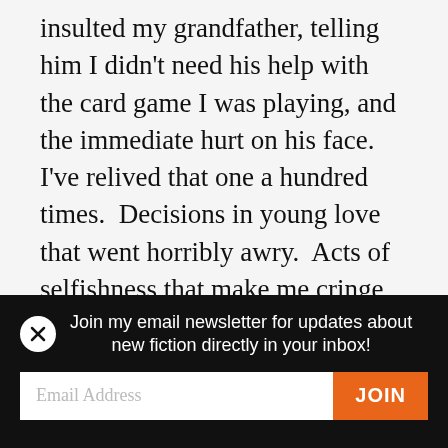insulted my grandfather, telling him I didn't need his help with the card game I was playing, and the immediate hurt on his face.  I've relived that one a hundred times.  Decisions in young love that went horribly awry.  Acts of selfishness that make me cringe so hard I want to turn myself inside out.  Some mistakes, it seems, are worth repeating over and over again.  It's painful, but I wonder if it doesn't happen for a
Join my email newsletter for updates about new fiction directly in your inbox!